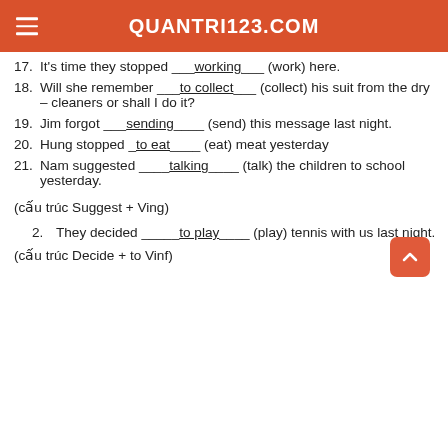QUANTRI123.COM
17. It's time they stopped ___working___ (work) here.
18. Will she remember ___to collect___ (collect) his suit from the dry – cleaners or shall I do it?
19. Jim forgot ___sending____ (send) this message last night.
20. Hung stopped _to eat____ (eat) meat yesterday
21. Nam suggested ____talking____ (talk) the children to school yesterday.
(cấu trúc Suggest + Ving)
2. They decided _____to play____ (play) tennis with us last night.
(cấu trúc Decide + to Vinf)